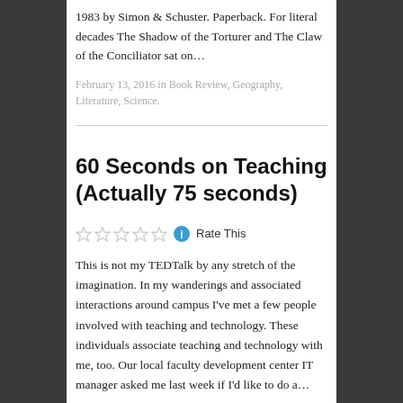1983 by Simon & Schuster. Paperback. For literal decades The Shadow of the Torturer and The Claw of the Conciliator sat on…
February 13, 2016 in Book Review, Geography, Literature, Science.
60 Seconds on Teaching (Actually 75 seconds)
[Figure (other): Five empty star rating icons followed by an info icon and 'Rate This' label]
This is not my TEDTalk by any stretch of the imagination. In my wanderings and associated interactions around campus I've met a few people involved with teaching and technology. These individuals associate teaching and technology with me, too. Our local faculty development center IT manager asked me last week if I'd like to do a…